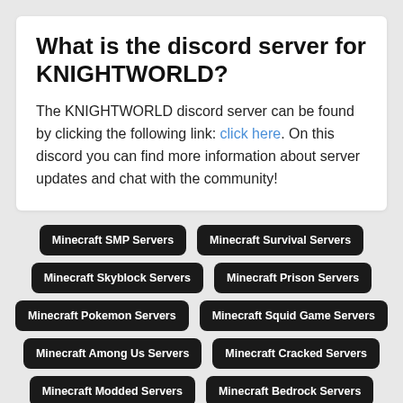What is the discord server for KNIGHTWORLD?
The KNIGHTWORLD discord server can be found by clicking the following link: click here. On this discord you can find more information about server updates and chat with the community!
Minecraft SMP Servers
Minecraft Survival Servers
Minecraft Skyblock Servers
Minecraft Prison Servers
Minecraft Pokemon Servers
Minecraft Squid Game Servers
Minecraft Among Us Servers
Minecraft Cracked Servers
Minecraft Modded Servers
Minecraft Bedrock Servers
Minecraft SkyFactory Servers
Minecraft OneBlock Servers